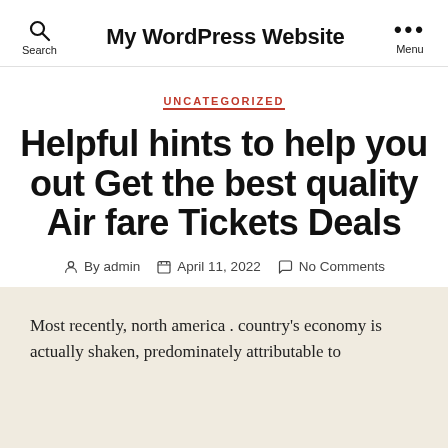My WordPress Website
UNCATEGORIZED
Helpful hints to help you out Get the best quality Air fare Tickets Deals
By admin  April 11, 2022  No Comments
Most recently, north america . country's economy is actually shaken, predominately attributable to